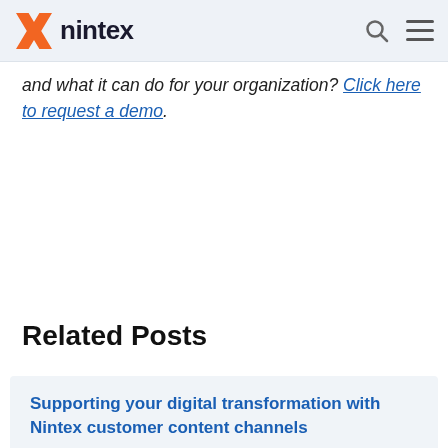nintex
and what it can do for your organization? Click here to request a demo.
Related Posts
Supporting your digital transformation with Nintex customer content channels